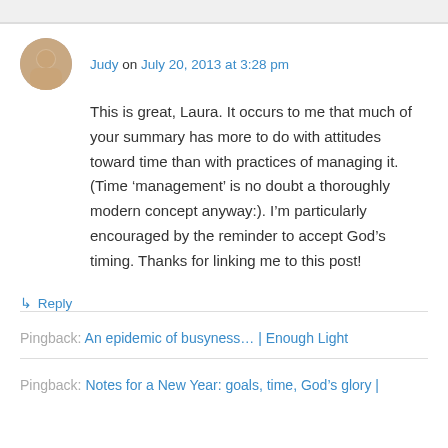Judy on July 20, 2013 at 3:28 pm
This is great, Laura. It occurs to me that much of your summary has more to do with attitudes toward time than with practices of managing it. (Time ‘management’ is no doubt a thoroughly modern concept anyway:). I’m particularly encouraged by the reminder to accept God’s timing. Thanks for linking me to this post!
↳ Reply
Pingback: An epidemic of busyness… | Enough Light
Pingback: Notes for a New Year: goals, time, God’s glory |